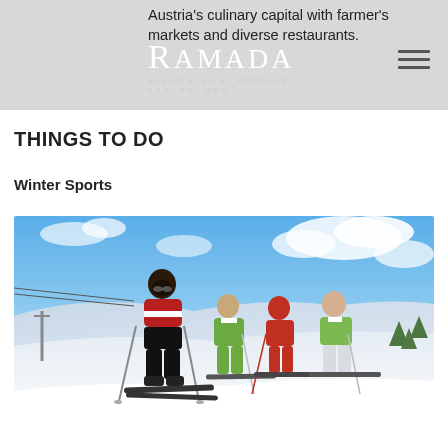Austria's culinary capital with farmer's markets and diverse restaurants.
THINGS TO DO
Winter Sports
[Figure (photo): Four skiers posing on a snowy mountain slope under a bright blue sky with white clouds. The lead skier wears a red and black jacket. Three others in green and red jackets stand behind. Ski lift cables visible on the left.]
Smooth pistes, deep powder and warm